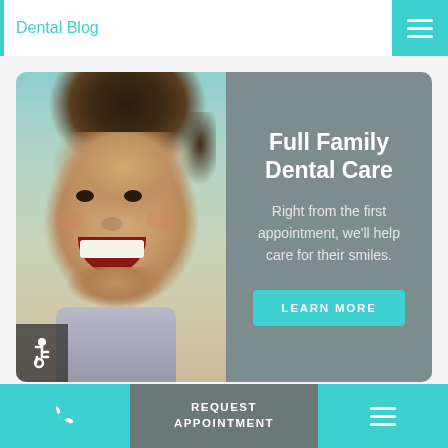Dental Blog
[Figure (photo): Smiling young child with dark hair, used as hero image for dental care promotion]
Full Family Dental Care
Right from the first appointment, we'll help care for their smiles.
LEARN MORE
THOUGHTS FROM OUR DENTISTS
REQUEST APPOINTMENT